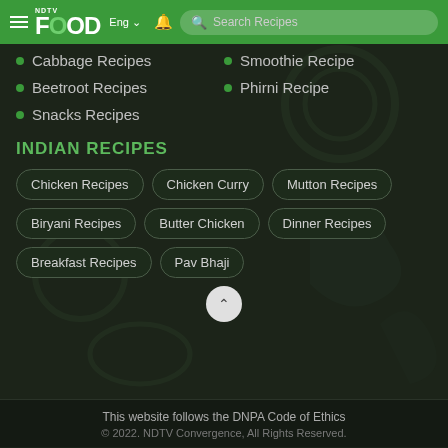NDTV Food | Eng | Search Recipes
Cabbage Recipes
Smoothie Recipe
Beetroot Recipes
Phirni Recipe
Snacks Recipes
INDIAN RECIPES
Chicken Recipes
Chicken Curry
Mutton Recipes
Biryani Recipes
Butter Chicken
Dinner Recipes
Breakfast Recipes
Pav Bhaji
This website follows the DNPA Code of Ethics
© 2022. NDTV Convergence, All Rights Reserved.